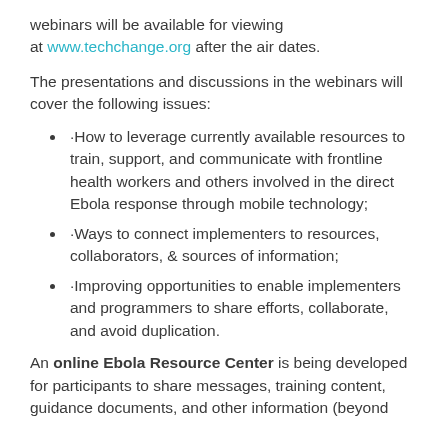webinars will be available for viewing at www.techchange.org after the air dates.
The presentations and discussions in the webinars will cover the following issues:
·How to leverage currently available resources to train, support, and communicate with frontline health workers and others involved in the direct Ebola response through mobile technology;
·Ways to connect implementers to resources, collaborators, & sources of information;
·Improving opportunities to enable implementers and programmers to share efforts, collaborate, and avoid duplication.
An online Ebola Resource Center is being developed for participants to share messages, training content, guidance documents, and other information (beyond...